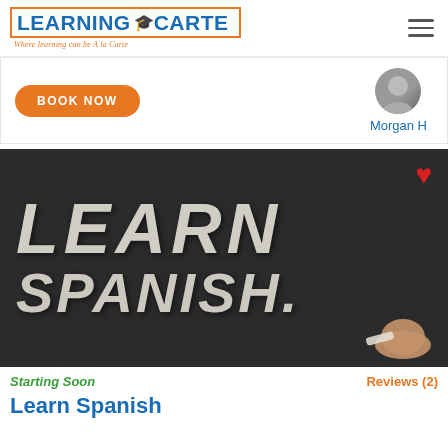[Figure (logo): Learning Carte logo with orange border, blue text, graduation cap, and orange italic tagline 'Where learning can be A la Carte']
BOOK NOW
Morgan H
[Figure (photo): Chalkboard with chalk handwriting reading LEARN SPANISH with a hand holding chalk, and a red heart icon in top right corner]
Starting Soon
Reviews (2)
Learn Spanish